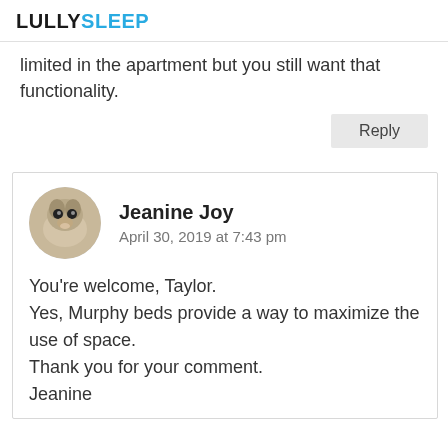LULLYSLEEP
limited in the apartment but you still want that functionality.
Reply
Jeanine Joy
April 30, 2019 at 7:43 pm
You're welcome, Taylor.
Yes, Murphy beds provide a way to maximize the use of space.
Thank you for your comment.
Jeanine